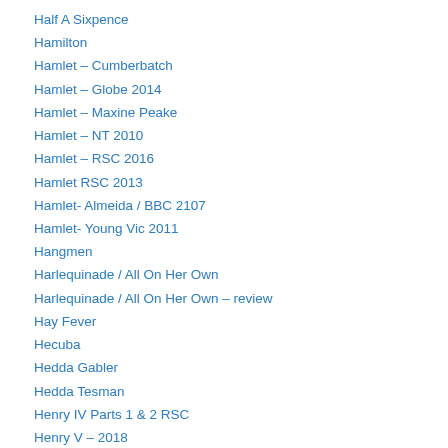Half A Sixpence
Hamilton
Hamlet – Cumberbatch
Hamlet – Globe 2014
Hamlet – Maxine Peake
Hamlet – NT 2010
Hamlet – RSC 2016
Hamlet RSC 2013
Hamlet- Almeida / BBC 2107
Hamlet- Young Vic 2011
Hangmen
Harlequinade / All On Her Own
Harlequinade / All On Her Own – review
Hay Fever
Hecuba
Hedda Gabler
Hedda Tesman
Henry IV Parts 1 & 2 RSC
Henry V – 2018
Henry V – Jude Law